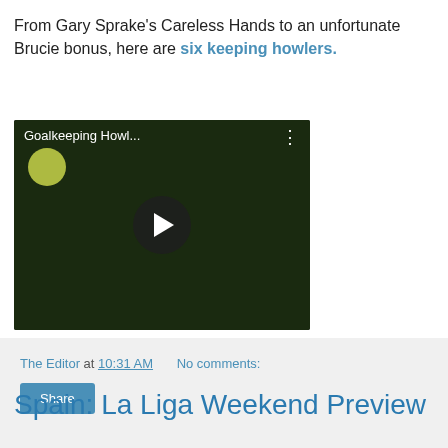From Gary Sprake's Careless Hands to an unfortunate Brucie bonus, here are six keeping howlers.
[Figure (screenshot): YouTube video thumbnail showing a football goalkeeping howlers compilation titled 'Goalkeeping Howl...' with a play button overlay on a dark football pitch background.]
The Editor at 10:31 AM   No comments:
Share
Spain: La Liga Weekend Preview